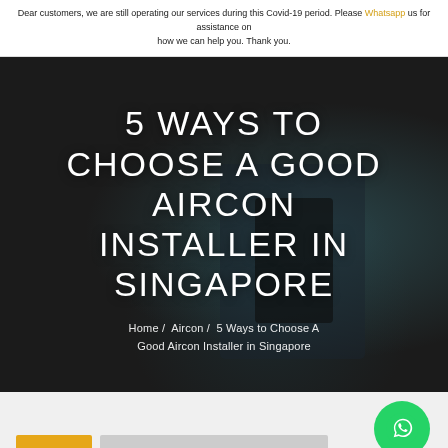Dear customers, we are still operating our services during this Covid-19 period. Please Whatsapp us for assistance on how we can help you. Thank you.
[Figure (photo): Dark hero banner image showing an aircon installer in Singapore with teal/dark color tones]
5 WAYS TO CHOOSE A GOOD AIRCON INSTALLER IN SINGAPORE
Home / Aircon / 5 Ways to Choose A Good Aircon Installer in Singapore
[Figure (other): WhatsApp contact button (green circular icon) floating in bottom-right area]